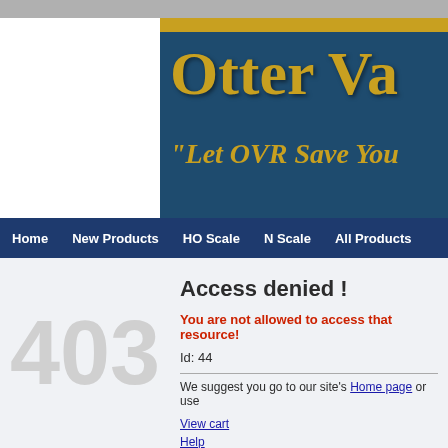[Figure (screenshot): Otter Valley Railroad website header with dark teal background, gold text reading 'OTTER VA' (truncated), and gold italic subtitle 'Let OVR Save You' (truncated). Gold top bar visible.]
Home   New Products   HO Scale   N Scale   All Products
403
Access denied !
You are not allowed to access that resource!
Id: 44
We suggest you go to our site's Home page or use
View cart
Help